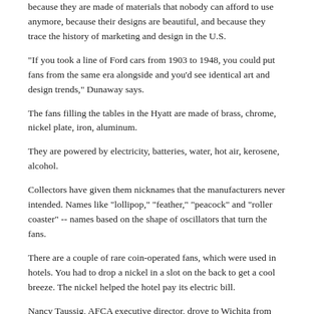because they are made of materials that nobody can afford to use anymore, because their designs are beautiful, and because they trace the history of marketing and design in the U.S.
"If you took a line of Ford cars from 1903 to 1948, you could put fans from the same era alongside and you'd see identical art and design trends," Dunaway says.
The fans filling the tables in the Hyatt are made of brass, chrome, nickel plate, iron, aluminum.
They are powered by electricity, batteries, water, hot air, kerosene, alcohol.
Collectors have given them nicknames that the manufacturers never intended. Names like "lollipop," "feather," "peacock" and "roller coaster" -- names based on the shape of oscillators that turn the fans.
There are a couple of rare coin-operated fans, which were used in hotels. You had to drop a nickel in a slot on the back to get a cool breeze. The nickel helped the hotel pay its electric bill.
Nancy Taussig, AFCA executive director, drove to Wichita from Sarasota, Fla., with her husband, Donald, an antiques dealer. Last year, she became the first woman elected into the Fanman Hall of Fame. She sports a red, white and blue ribbon around her neck with a miniature fan that actually works.
Taussig says the first written proof of an electric fan was about 1882.